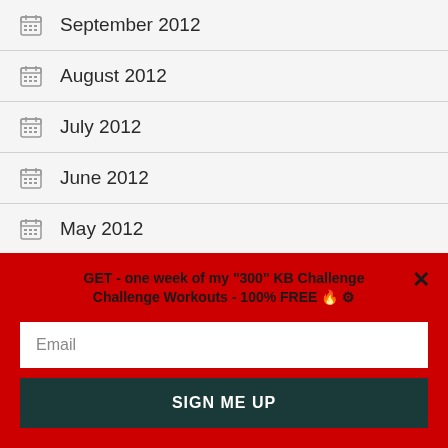September 2012
August 2012
July 2012
June 2012
May 2012
April 2012
GET - one week of my "300" KB Challenge Challenge Workouts - 100% FREE 🔥 ⚙
Email
SIGN ME UP